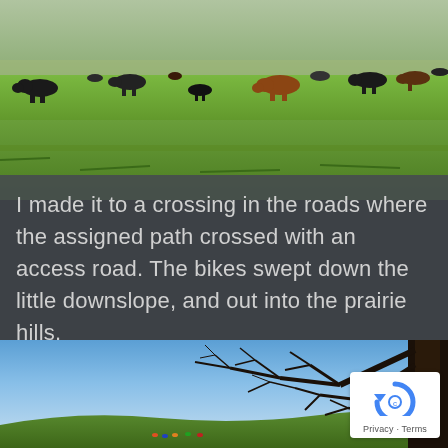[Figure (photo): Cattle grazing on a green prairie field under a hazy sky, multiple cows scattered across lush grassland.]
I made it to a crossing in the roads where the assigned path crossed with an access road.  The bikes swept down the little downslope, and out into the prairie hills.
[Figure (photo): Bare tree branches silhouetted against a bright blue sky, with a large dark tree trunk on the right and distant cyclists on a grassy hill in the lower portion.]
Privacy · Terms